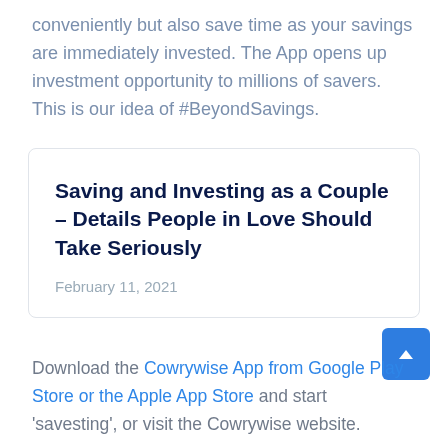conveniently but also save time as your savings are immediately invested. The App opens up investment opportunity to millions of savers. This is our idea of #BeyondSavings.
Saving and Investing as a Couple – Details People in Love Should Take Seriously
February 11, 2021
Download the Cowrywise App from Google Play Store or the Apple App Store and start 'savesting', or visit the Cowrywise website.